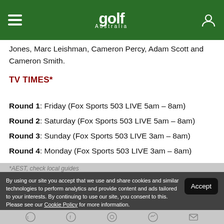Golf Australia
Jones, Marc Leishman, Cameron Percy, Adam Scott and Cameron Smith.
TV TIMES*
Round 1: Friday (Fox Sports 503 LIVE 5am – 8am)
Round 2: Saturday (Fox Sports 503 LIVE 5am – 8am)
Round 3: Sunday (Fox Sports 503 LIVE 3am – 8am)
Round 4: Monday (Fox Sports 503 LIVE 3am – 8am)
*AEST, check local guides
By using our site you accept that we use and share cookies and similar technologies to perform analytics and provide content and ads tailored to your interests. By continuing to use our site, you consent to this. Please see our Cookie Policy for more information.